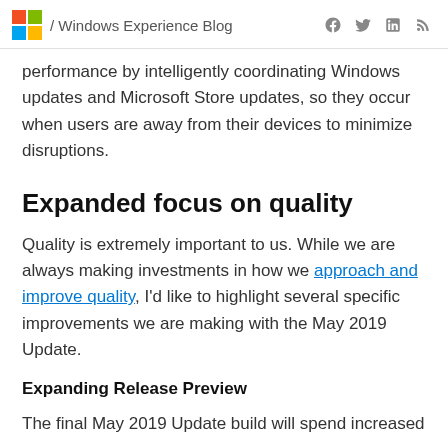/ Windows Experience Blog
performance by intelligently coordinating Windows updates and Microsoft Store updates, so they occur when users are away from their devices to minimize disruptions.
Expanded focus on quality
Quality is extremely important to us. While we are always making investments in how we approach and improve quality, I'd like to highlight several specific improvements we are making with the May 2019 Update.
Expanding Release Preview
The final May 2019 Update build will spend increased